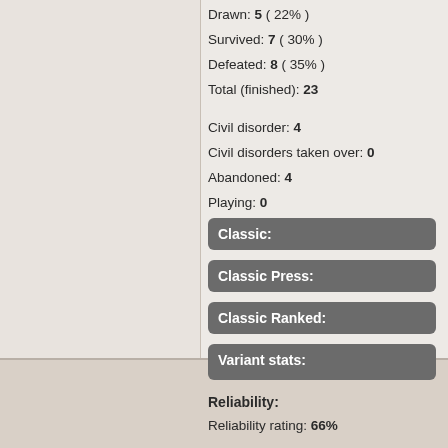Drawn: 5 ( 22% )
Survived: 7 ( 30% )
Defeated: 8 ( 35% )
Total (finished): 23
Civil disorder: 4
Civil disorders taken over: 0
Abandoned: 4
Playing: 0
Classic:
Classic Press:
Classic Ranked:
Variant stats:
Reliability:
Reliability rating: 66%